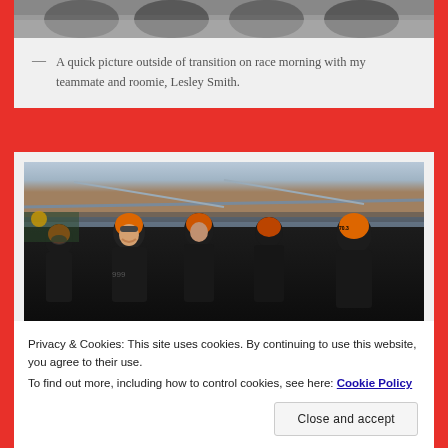[Figure (photo): Top portion of a photo showing bicycle wheels/equipment at a triathlon transition area, partially cropped at top of page]
— A quick picture outside of transition on race morning with my teammate and roomie, Lesley Smith.
[Figure (photo): Group of triathlon athletes in wetsuits and swim caps (orange) standing near the water before a race, with a bridge visible in the background]
Privacy & Cookies: This site uses cookies. By continuing to use this website, you agree to their use.
To find out more, including how to control cookies, see here: Cookie Policy